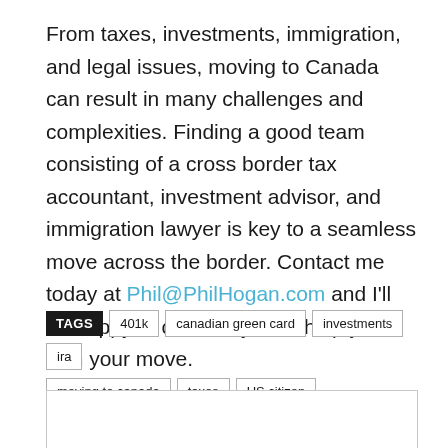From taxes, investments, immigration, and legal issues, moving to Canada can result in many challenges and complexities. Finding a good team consisting of a cross border tax accountant, investment advisor, and immigration lawyer is key to a seamless move across the border. Contact me today at Phil@PhilHogan.com and I'll be happy to connect you to help you with your move.
TAGS  401k  canadian green card  investments  ira  moving to canada  taxes  US citizen
[Figure (other): Empty comment/form box with light grey border]